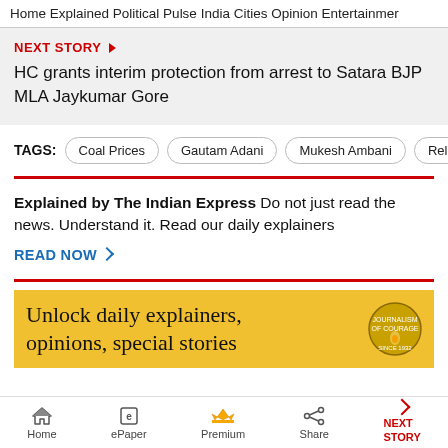Home  Explained  Political Pulse  India  Cities  Opinion  Entertainment
NEXT STORY ▶
HC grants interim protection from arrest to Satara BJP MLA Jaykumar Gore
TAGS: Coal Prices  Gautam Adani  Mukesh Ambani  Reliance
Explained by The Indian Express Do not just read the news. Understand it. Read our daily explainers
READ NOW >
[Figure (other): Yellow promotional banner: Unlock daily explainers, opinions, special stories with Indian Express logo]
Home  ePaper  Premium  Share  NEXT STORY →